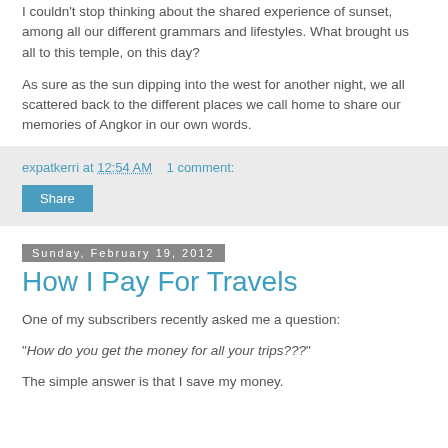I couldn't stop thinking about the shared experience of sunset, among all our different grammars and lifestyles. What brought us all to this temple, on this day?
As sure as the sun dipping into the west for another night, we all scattered back to the different places we call home to share our memories of Angkor in our own words.
expatkerri at 12:54 AM   1 comment:
Share
Sunday, February 19, 2012
How I Pay For Travels
One of my subscribers recently asked me a question:
"How do you get the money for all your trips???"
The simple answer is that I save my money.